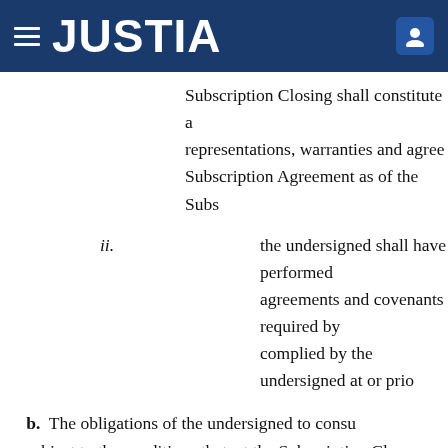JUSTIA
Subscription Closing shall constitute a representations, warranties and agree Subscription Agreement as of the Subs
ii. the undersigned shall have performed agreements and covenants required by complied by the undersigned at or prio
b. The obligations of the undersigned to consu are subject to the conditions that, at the Subscription Clos
i. all representations and warranties of t Subscription Agreement shall be true a representations and warranties that ar Effect", which representations and war and as of the Subscription Closing as th for those representations and warrant